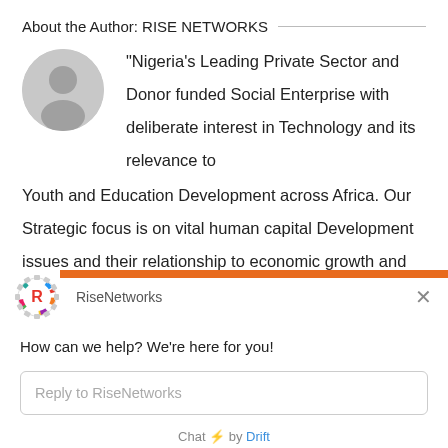About the Author: RISE NETWORKS
"Nigeria's Leading Private Sector and Donor funded Social Enterprise with deliberate interest in Technology and its relevance to Youth and Education Development across Africa. Our Strategic focus is on vital human capital Development issues and their relationship to economic growth and democratic consolidation." Twitter: @risenetworks ||
[Figure (logo): RiseNetworks chat widget logo: letter R inside a gear/cog circle with multicolor segments (red, orange, yellow, green, blue, purple)]
RiseNetworks
How can we help? We're here for you!
Reply to RiseNetworks
Chat ⚡ by Drift